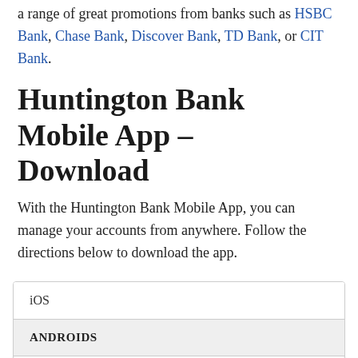a range of great promotions from banks such as HSBC Bank, Chase Bank, Discover Bank, TD Bank, or CIT Bank.
Huntington Bank Mobile App – Download
With the Huntington Bank Mobile App, you can manage your accounts from anywhere. Follow the directions below to download the app.
iOS
ANDROIDS
Huntington Bank Mobile App take the ... features from Online Banking and ...